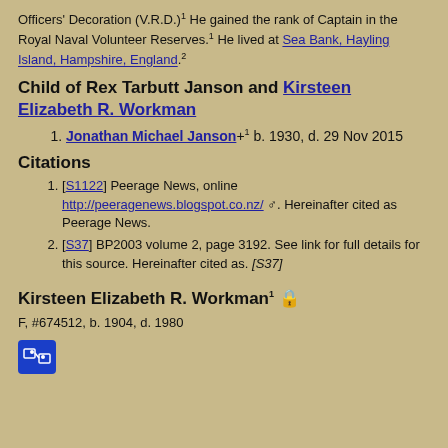Officers' Decoration (V.R.D.)1 He gained the rank of Captain in the Royal Naval Volunteer Reserves.1 He lived at Sea Bank, Hayling Island, Hampshire, England.2
Child of Rex Tarbutt Janson and Kirsteen Elizabeth R. Workman
Jonathan Michael Janson+1 b. 1930, d. 29 Nov 2015
Citations
[S1122] Peerage News, online http://peeragenews.blogspot.co.nz/ . Hereinafter cited as Peerage News.
[S37] BP2003 volume 2, page 3192. See link for full details for this source. Hereinafter cited as. [S37]
Kirsteen Elizabeth R. Workman1
F, #674512, b. 1904, d. 1980